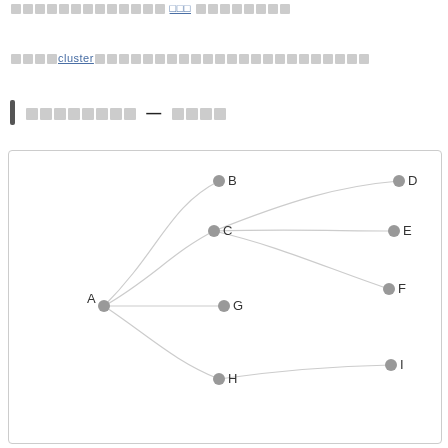□□□□□□□□□□□□□ [link] □□□□□□□□
□□□□ cluster □□□□□□□□□□□□□□□□□□□□□□□□
□□□□□□□□ — □□□□
[Figure (network-graph): A directed network graph showing node A on the left connected to nodes B, C (via curves), G (direct), and H (via curve). Node C connects to D, E, F. Node H connects to I. All nodes shown as grey circles with letter labels.]